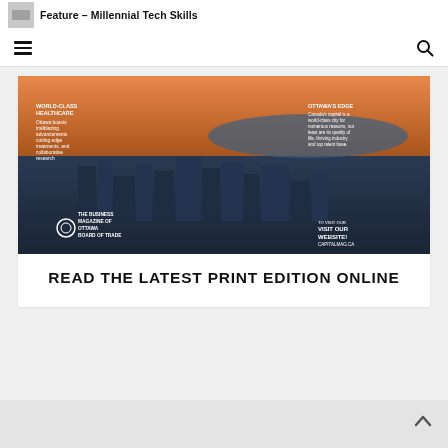Feature – Millennial Tech Skills
[Figure (photo): Aerial photograph of Ottawa city skyline with river and green areas at sunset, overlaid with text: WORLD-CLASS HEALTHCARE - Ottawa boasts trailblazing advancements cutting edge treatments, and collaborative research; OTTAWA'S EDGE - Canada's capital is a world-class city for numerous reasons, not least are its quality of life, thriving industry and top talent base; THE BUSINESS MAGAZINE OF OTTAWA BOARD OF TRADE; VISIT OUR WEBSITE! CAPITALMAG.CA]
READ THE LATEST PRINT EDITION ONLINE